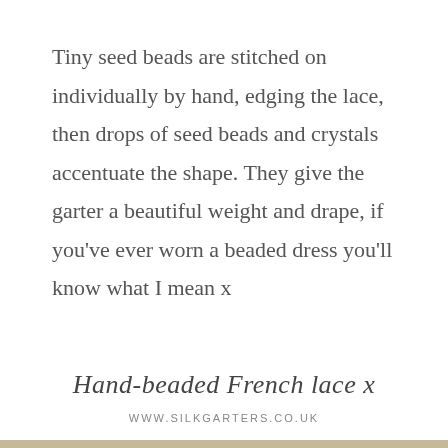Tiny seed beads are stitched on individually by hand, edging the lace, then drops of seed beads and crystals accentuate the shape. They give the garter a beautiful weight and drape, if you've ever worn a beaded dress you'll know what I mean x
Hand-beaded French lace x
www.SilkGarters.co.uk